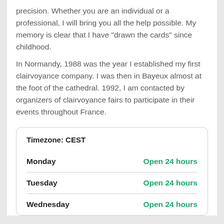precision. Whether you are an individual or a professional, I will bring you all the help possible. My memory is clear that I have "drawn the cards" since childhood.
In Normandy, 1988 was the year I established my first clairvoyance company. I was then in Bayeux almost at the foot of the cathedral. 1992, I am contacted by organizers of clairvoyance fairs to participate in their events throughout France.
|  |  |
| --- | --- |
| Timezone: CEST |  |
| Monday | Open 24 hours |
| Tuesday | Open 24 hours |
| Wednesday | Open 24 hours |